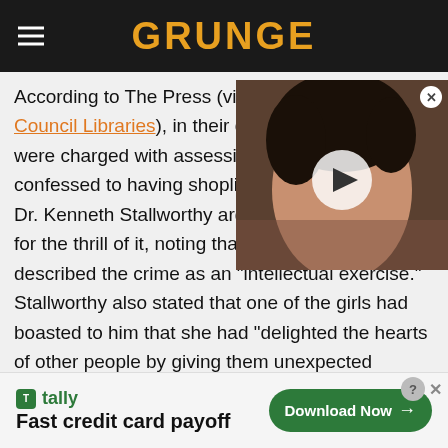GRUNGE
According to The Press (via Christchurch City Council Libraries), in their discussions were charged with assessing t confessed to having shoplifted Dr. Kenneth Stallworthy argue for the thrill of it, noting that one of them had described the crime as an "intellectual exercise." Stallworthy also stated that one of the girls had boasted to him that she had "delighted the hearts of other people by giving them unexpected presents."
[Figure (photo): Video thumbnail showing a woman with short dark hair, with a play button overlay]
[Figure (screenshot): Advertisement for Tally - Fast credit card payoff with Download Now button]